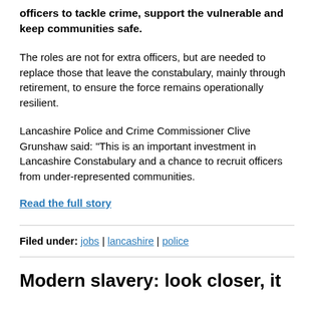officers to tackle crime, support the vulnerable and keep communities safe.
The roles are not for extra officers, but are needed to replace those that leave the constabulary, mainly through retirement, to ensure the force remains operationally resilient.
Lancashire Police and Crime Commissioner Clive Grunshaw said: “This is an important investment in Lancashire Constabulary and a chance to recruit officers from under-represented communities.
Read the full story
Filed under: jobs | lancashire | police
Modern slavery: look closer, it